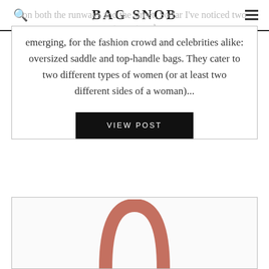BAG SNOB
on both the runways and the street. So far I've noticed two strong trends emerging, for the fashion crowd and celebrities alike: oversized saddle and top-handle bags. They cater to two different types of women (or at least two different sides of a woman)...
VIEW POST
[Figure (photo): Partial view of a pink/terracotta colored handbag showing the top handle arch against a white background]